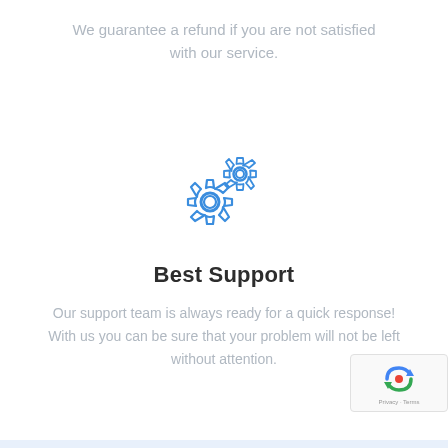We guarantee a refund if you are not satisfied with our service.
[Figure (illustration): Two blue gear/cog icons representing support or settings]
Best Support
Our support team is always ready for a quick response! With us you can be sure that your problem will not be left without attention.
[Figure (logo): reCAPTCHA widget with Privacy and Terms text]